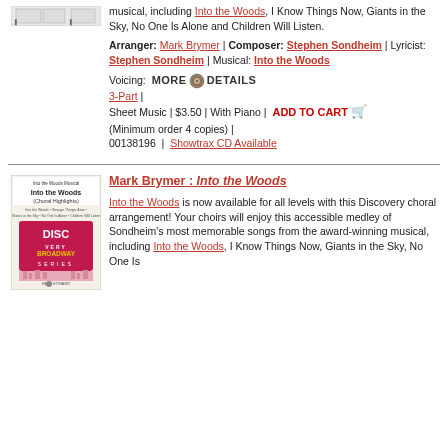[Figure (photo): Sheet music book cover thumbnail at top]
musical, including Into the Woods, I Know Things Now, Giants in the Sky, No One Is Alone and Children Will Listen.
Arranger: Mark Brymer | Composer: Stephen Sondheim | Lyricist: Stephen Sondheim | Musical: Into the Woods
Voicing: MORE DETAILS 3-Part | Sheet Music | $3.50 | With Piano | ADD TO CART (Minimum order 4 copies) | 00138196 | Showtrax CD Available
[Figure (photo): Into the Woods Choral Highlights Discovery Broadway Series book cover]
Mark Brymer : Into the Woods
Into the Woods is now available for all levels with this Discovery choral arrangement! Your choirs will enjoy this accessible medley of Sondheim's most memorable songs from the award-winning musical, including Into the Woods, I Know Things Now, Giants in the Sky, No One Is